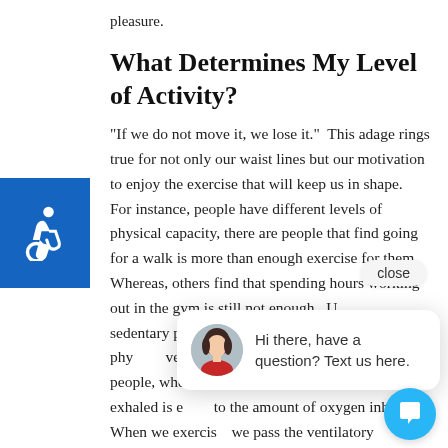pleasure.
What Determines My Level of Activity?
“If we do not move it, we lose it.”  This adage rings true for not only our waist lines but our motivation to enjoy the exercise that will keep us in shape.  For instance, people have different levels of physical capacity, there are people that find going for a walk is more than enough exercise for them. Whereas, others find that spending hours working out in the gym is still not enough.  U... sedentary peo... ups are suffici... A persons’ phy... ventilatory threshold.  In the majority of people, when at rest, the amount of carbon dioxide exhaled is e... to the amount of oxygen inhaled. When we exercis... we pass the ventilatory threshold and the amount of
[Figure (other): Accessibility icon (wheelchair symbol) on blue background]
[Figure (other): Live chat popup with avatar photo and text: Hi there, have a question? Text us here.]
[Figure (other): Blue circular chat bubble button]
close